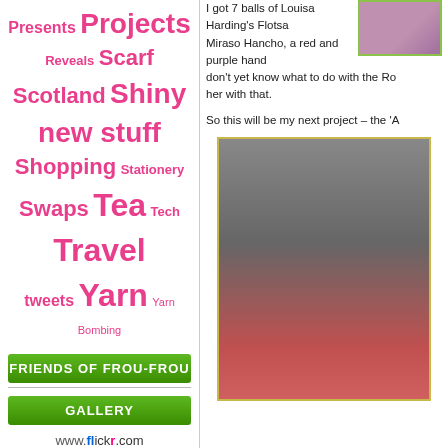Presents Projects Reveals Scarf Scotland Shiny new stuff Shopping Stationery Swaps Tea Tech Travel tweets Yarn Yarn Bombing
FRIENDS OF FROU-FROU
GALLERY
www.flickr.com
TWITTER
ABOUT
About Me
Contact
Search for:
[Figure (photo): Small photo of purple/pink yarn close-up, shown in top right corner with green border]
I got 7 balls of Louisa Harding's Flotsa... Miraso Hancho, a red and purple hand... don't yet know what to do with the Ro... her with that.
So this will be my next project – the 'A...
[Figure (photo): Large photo of a painting on a wall with a framed floral artwork and red/pink yarn at the bottom, shown with yellow-green border]